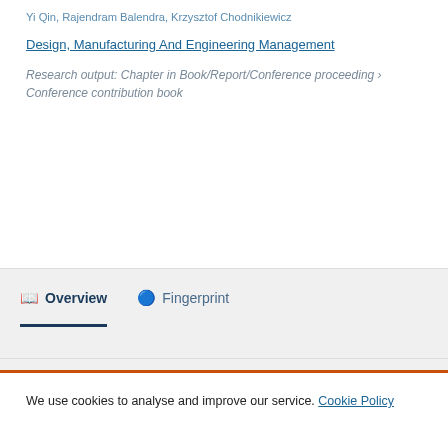Yi Qin, Rajendram Balendra, Krzysztof Chodnikiewicz
Design, Manufacturing And Engineering Management
Research output: Chapter in Book/Report/Conference proceeding › Conference contribution book
Overview   Fingerprint
We use cookies to analyse and improve our service. Cookie Policy